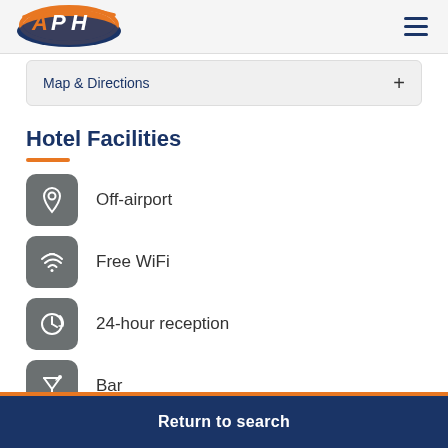APH logo and navigation menu
Map & Directions
Hotel Facilities
Off-airport
Free WiFi
24-hour reception
Bar
Return to search